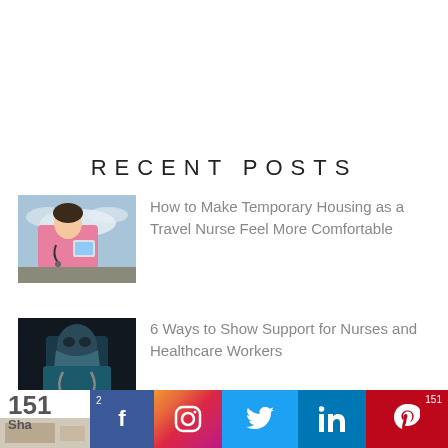RECENT POSTS
[Figure (photo): Travel nurse in pink scrubs with airplane in background, holding a tablet]
How to Make Temporary Housing as a Travel Nurse Feel More Comfortable
[Figure (photo): Healthcare worker wearing a face mask and stethoscope against dark background]
6 Ways to Show Support for Nurses and Healthcare Workers
151 Shares | Social share bar: Facebook (2), Instagram, Twitter, LinkedIn, Pinterest (151)